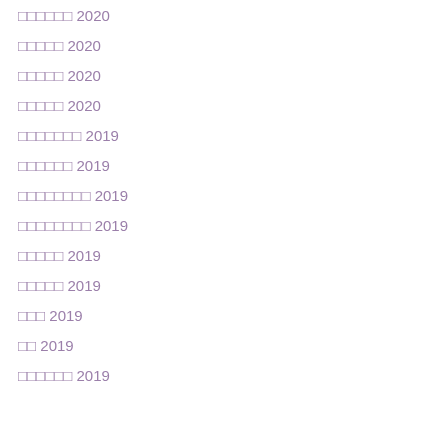□□□□□□ 2020
□□□□□ 2020
□□□□□ 2020
□□□□□ 2020
□□□□□□□ 2019
□□□□□□ 2019
□□□□□□□□ 2019
□□□□□□□□ 2019
□□□□□ 2019
□□□□□ 2019
□□□ 2019
□□ 2019
□□□□□□ 2019